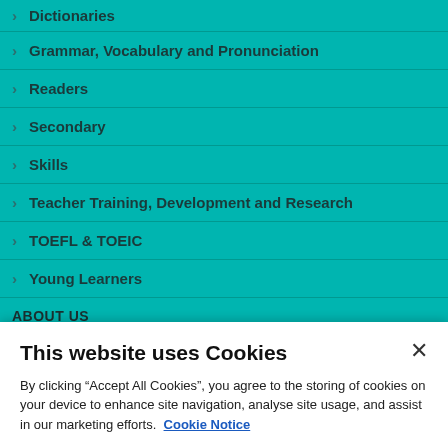Dictionaries
Grammar, Vocabulary and Pronunciation
Readers
Secondary
Skills
Teacher Training, Development and Research
TOEFL & TOEIC
Young Learners
ABOUT US
This website uses Cookies
By clicking “Accept All Cookies”, you agree to the storing of cookies on your device to enhance site navigation, analyse site usage, and assist in our marketing efforts.  Cookie Notice